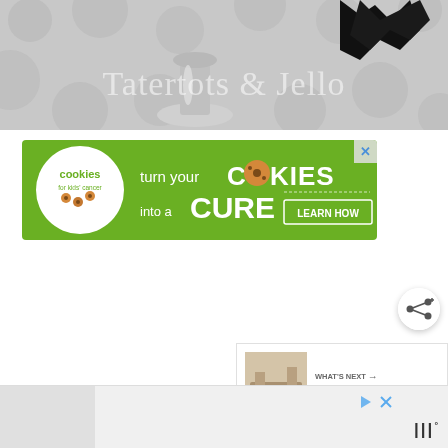[Figure (photo): Top portion of a blog/website image showing a glass and black scissors/bird silhouette on a gray polka dot background with 'Tatertots & Jello' watermark text in white]
[Figure (illustration): Advertisement banner: 'Cookies for Kids Cancer' - green background with text 'turn your COOKIES into a CURE LEARN HOW' and cookie logo]
[Figure (illustration): Share button icon - circular white button with share/network icon]
WHAT'S NEXT → FREE SVG Cut Files for Cri...
[Figure (photo): Thumbnail image for 'What's Next' panel showing furniture/shelf]
[Figure (illustration): Bottom ad strip with play/close controls and 'III°' logo mark]